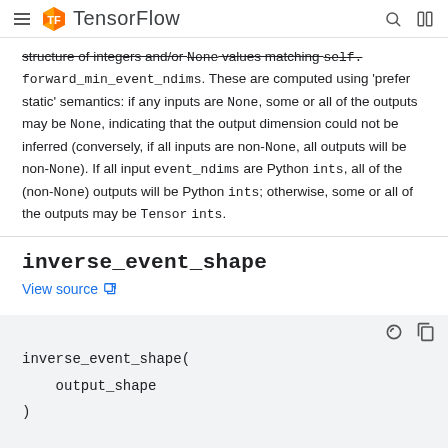TensorFlow
structure of integers and/or None values matching self.forward_min_event_ndims. These are computed using 'prefer static' semantics: if any inputs are None, some or all of the outputs may be None, indicating that the output dimension could not be inferred (conversely, if all inputs are non-None, all outputs will be non-None). If all input event_ndims are Python ints, all of the (non-None) outputs will be Python ints; otherwise, some or all of the outputs may be Tensor ints.
inverse_event_shape
View source
inverse_event_shape(
    output_shape
)